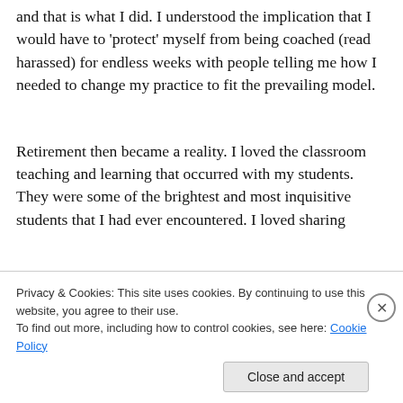and that is what I did. I understood the implication that I would have to 'protect' myself from being coached (read harassed) for endless weeks with people telling me how I needed to change my practice to fit the prevailing model.
Retirement then became a reality. I loved the classroom teaching and learning that occurred with my students. They were some of the brightest and most inquisitive students that I had ever encountered. I loved sharing
Privacy & Cookies: This site uses cookies. By continuing to use this website, you agree to their use.
To find out more, including how to control cookies, see here: Cookie Policy